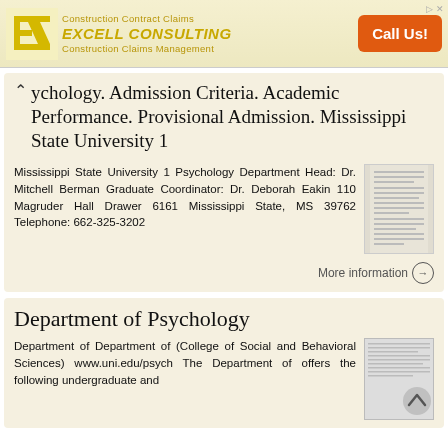[Figure (other): Advertisement banner for Excell Consulting - Construction Contract Claims with orange Call Us button and yellow logo]
ychology. Admission Criteria. Academic Performance. Provisional Admission. Mississippi State University 1
Mississippi State University 1 Psychology Department Head: Dr. Mitchell Berman Graduate Coordinator: Dr. Deborah Eakin 110 Magruder Hall Drawer 6161 Mississippi State, MS 39762 Telephone: 662-325-3202
More information →
Department of Psychology
Department of Department of (College of Social and Behavioral Sciences) www.uni.edu/psych The Department of offers the following undergraduate and